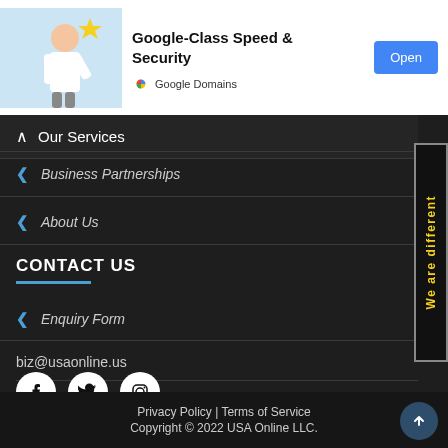[Figure (illustration): Google Domains advertisement banner with cartoon figure, headline 'Google-Class Speed & Security', Google Domains logo, and Open button]
Our Services
Business Partnerships
About Us
CONTACT US
Enquiry Form
biz@usaonline.us
[Figure (illustration): Social media icons: Facebook, Twitter, Instagram - white icons on white circles]
Privacy Policy | Terms of Service
Copyright © 2022 USA Online LLC.